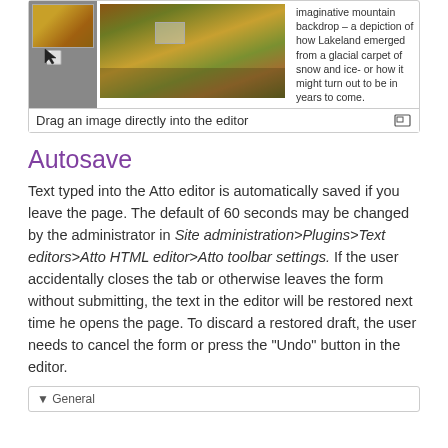[Figure (screenshot): Screenshot of an editor interface showing a thumbnail image panel on the left with a gray background and a landscape painting thumbnail, a larger landscape image in the center (colorful mountain/valley scene), and caption text on the right reading: 'imaginative mountain backdrop – a depiction of how Lakeland emerged from a glacial carpet of snow and ice- or how it might turn out to be in years to come.']
Drag an image directly into the editor
Autosave
Text typed into the Atto editor is automatically saved if you leave the page. The default of 60 seconds may be changed by the administrator in Site administration>Plugins>Text editors>Atto HTML editor>Atto toolbar settings. If the user accidentally closes the tab or otherwise leaves the form without submitting, the text in the editor will be restored next time he opens the page. To discard a restored draft, the user needs to cancel the form or press the "Undo" button in the editor.
[Figure (screenshot): Bottom of a settings panel showing '- General' label, partially visible.]